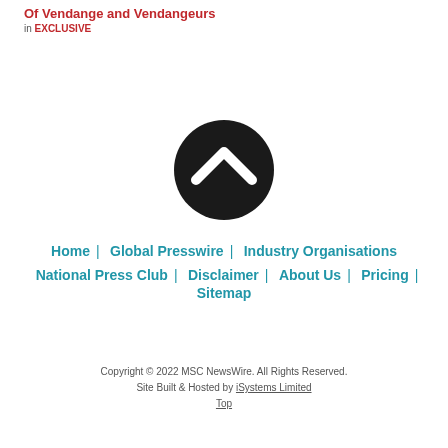Of Vendange and Vendangeurs
in EXCLUSIVE
[Figure (illustration): Black circle with white upward chevron/arrow icon in the center (scroll-to-top button)]
Home | Global Presswire | Industry Organisations | National Press Club | Disclaimer | About Us | Pricing | Sitemap
Copyright © 2022 MSC NewsWire. All Rights Reserved. Site Built & Hosted by iSystems Limited Top